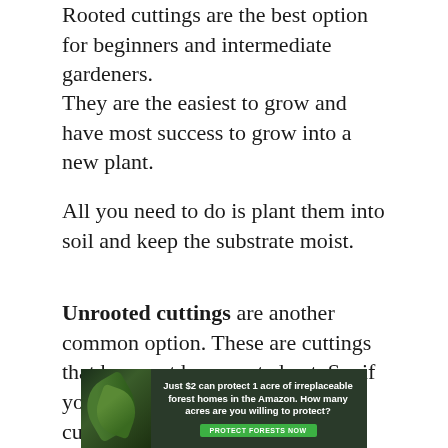Rooted cuttings are the best option for beginners and intermediate gardeners.
They are the easiest to grow and have most success to grow into a new plant.
All you need to do is plant them into soil and keep the substrate moist.
Unrooted cuttings are another common option. These are cuttings that have not been rooted yet. So, if you buy them make sure that the cuttings have nodes.
[Figure (infographic): Advertisement banner: dark green jungle background with leaves on left, text reads 'Just $2 can protect 1 acre of irreplaceable forest homes in the Amazon. How many acres are you willing to protect?' with a green 'PROTECT FORESTS NOW' button.]